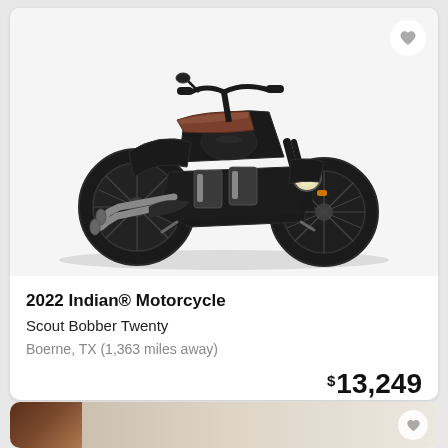[Figure (photo): A black 2022 Indian Scout Bobber Twenty motorcycle photographed on a white/light gray background, shown from a three-quarter front-left angle. The motorcycle features a matte black finish, brown leather seat, chrome engine details, and spoke wheels.]
2022 Indian® Motorcycle
Scout Bobber Twenty
Boerne, TX (1,363 miles away)
$13,249